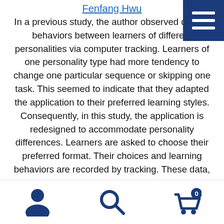Fenfang Hwu
In a previous study, the author observed distinct behaviors between learners of different personalities via computer tracking. Learners of one personality type had more tendency to change one particular sequence or skipping one task. This seemed to indicate that they adapted the application to their preferred learning styles. Consequently, in this study, the application is redesigned to accommodate personality differences. Learners are asked to choose their preferred format. Their choices and learning behaviors are recorded by tracking. These data, along with their learning outcomes and self-reported surveys on personality and learning, are compared and analyzed to draw further implications for the relationship between personality and learning